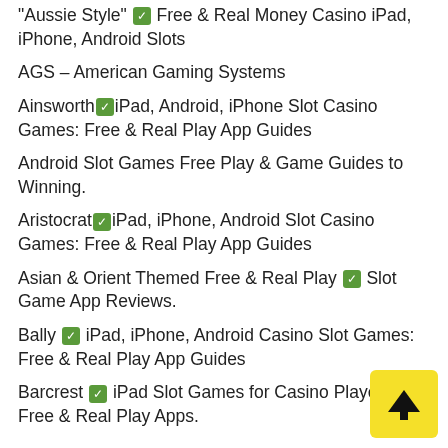"Aussie Style" ✅ Free & Real Money Casino iPad, iPhone, Android Slots
AGS – American Gaming Systems
Ainsworth ✅ iPad, Android, iPhone Slot Casino Games: Free & Real Play App Guides
Android Slot Games Free Play & Game Guides to Winning.
Aristocrat ✅ iPad, iPhone, Android Slot Casino Games: Free & Real Play App Guides
Asian & Orient Themed Free & Real Play ✅ Slot Game App Reviews.
Bally ✅ iPad, iPhone, Android Casino Slot Games: Free & Real Play App Guides
Barcrest ✅ iPad Slot Games for Casino Players: Free & Real Play Apps.